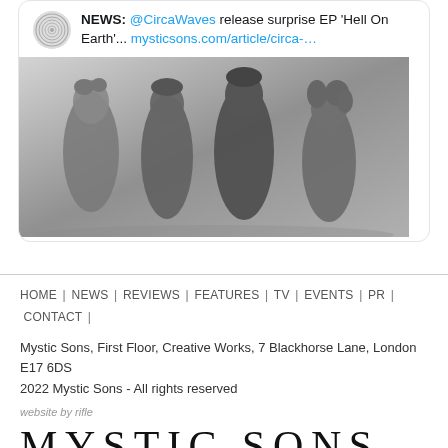[Figure (screenshot): Tweet from Mystic Sons showing a black and white photo of four band members (Circa Waves). Tweet text reads: NEWS: @CircaWaves release surprise EP 'Hell On Earth'... mysticsons.com/article/circa-...]
HOME | NEWS | REVIEWS | FEATURES | TV | EVENTS | PR | CONTACT |
Mystic Sons, First Floor, Creative Works, 7 Blackhorse Lane, London E17 6DS
2022 Mystic Sons - All rights reserved
website by rifle
MYSTIC SONS